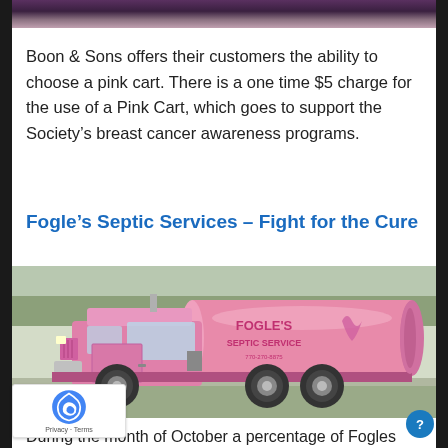[Figure (photo): Top portion of a photo showing people, partially cropped at top of page]
Boon & Sons offers their customers the ability to choose a pink cart. There is a one time $5 charge for the use of a Pink Cart, which goes to support the Society’s breast cancer awareness programs.
Fogle’s Septic Services – Fight for the Cure
[Figure (photo): A pink septic service truck with 'Fogle's Septic Service' branding and a pink ribbon logo, parked outdoors]
During the month of October a percentage of Fogles pumping proceeds will be donated to